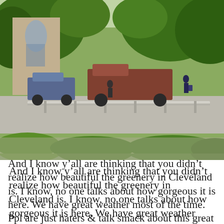[Figure (photo): Street scene with lush green trees, parked vehicles including a red truck, a building with arched windows on the left, a guardrail in the middle ground, and two people visible in the distance. Bright sunny day with abundant greenery.]
And I know y’all are thinking that you didn’t realize how beautiful the greenery in Cleveland is. I know, no one talks about how gorgeous it is here. We have great weather most of the time.
Ppl are just haters & talk smack about this great
Privacy & Cookies: This site uses cookies. By continuing to use this website, you agree to their use.
To find out more, including how to control cookies, see here: Cookie Policy
Close and accept